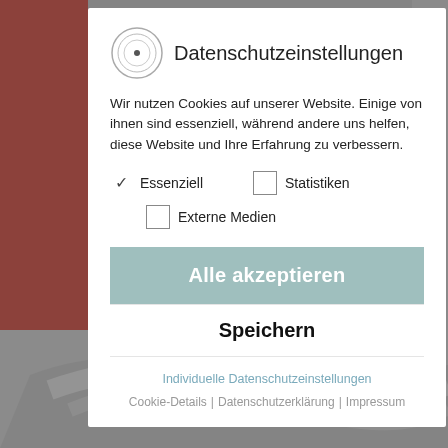[Figure (screenshot): Website background visible behind the cookie consent modal dialog, showing partial product image on the left with red color, and gray blurred background. Bottom portion shows cable/wire product imagery.]
Datenschutzeinstellungen
Wir nutzen Cookies auf unserer Website. Einige von ihnen sind essenziell, während andere uns helfen, diese Website und Ihre Erfahrung zu verbessern.
✓ Essenziell
☐ Statistiken
☐ Externe Medien
Alle akzeptieren
Speichern
Individuelle Datenschutzeinstellungen
Cookie-Details | Datenschutzerklärung | Impressum